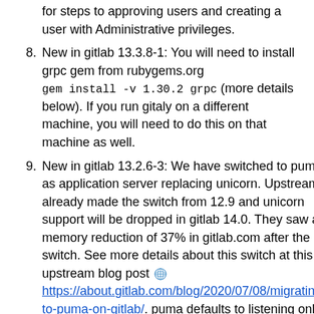for steps to approving users and creating a user with Administrative privileges.
8. New in gitlab 13.3.8-1: You will need to install grpc gem from rubygems.org
gem install -v 1.30.2 grpc (more details below). If you run gitaly on a different machine, you will need to do this on that machine as well.
9. New in gitlab 13.2.6-3: We have switched to puma as application server replacing unicorn. Upstream already made the switch from 12.9 and unicorn support will be dropped in gitlab 14.0. They saw a memory reduction of 37% in gitlab.com after the switch. See more details about this switch at this upstream blog post https://about.gitlab.com/blog/2020/07/08/migrating-to-puma-on-gitlab/. puma defaults to listening only on unix sockets and if you are running gitaly on a different machine, then you will have to edit